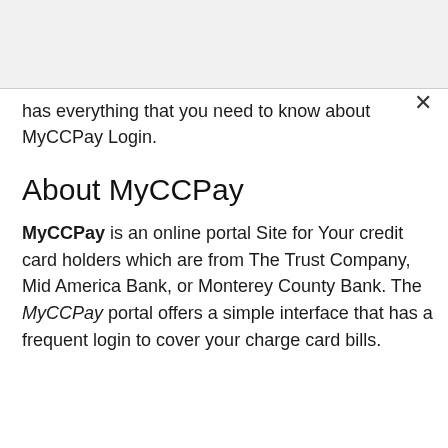has everything that you need to know about MyCCPay Login.
About MyCCPay
MyCCPay is an online portal Site for Your credit card holders which are from The Trust Company, Mid America Bank, or Monterey County Bank. The MyCCPay portal offers a simple interface that has a frequent login to cover your charge card bills.